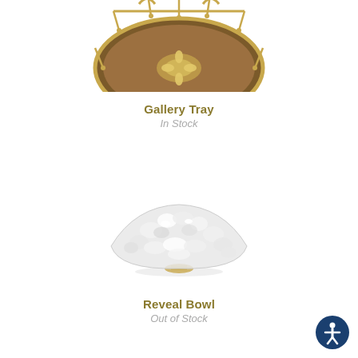[Figure (photo): Oval wooden gallery tray with brass gallery rail and gold inlay floral design, partially cropped at top]
Gallery Tray
In Stock
[Figure (photo): Wide shallow decorative bowl made of crystal or frosted glass with textured surface, displayed on a small gold base]
Reveal Bowl
Out of Stock
[Figure (other): Accessibility icon button — blue circle with white human figure]